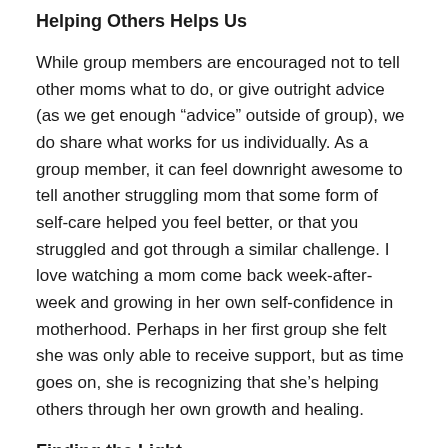Helping Others Helps Us
While group members are encouraged not to tell other moms what to do, or give outright advice (as we get enough “advice” outside of group), we do share what works for us individually. As a group member, it can feel downright awesome to tell another struggling mom that some form of self-care helped you feel better, or that you struggled and got through a similar challenge. I love watching a mom come back week-after-week and growing in her own self-confidence in motherhood. Perhaps in her first group she felt she was only able to receive support, but as time goes on, she is recognizing that she’s helping others through her own growth and healing.
Finding the Light
It may seem counterintuitive, but we laugh a lot.